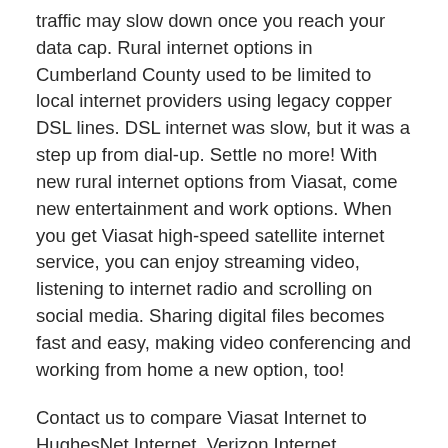traffic may slow down once you reach your data cap. Rural internet options in Cumberland County used to be limited to local internet providers using legacy copper DSL lines. DSL internet was slow, but it was a step up from dial-up. Settle no more! With new rural internet options from Viasat, come new entertainment and work options. When you get Viasat high-speed satellite internet service, you can enjoy streaming video, listening to internet radio and scrolling on social media. Sharing digital files becomes fast and easy, making video conferencing and working from home a new option, too!
Contact us to compare Viasat Internet to HughesNet Internet, Verizon Internet, CenturyLink Internet, AT&T Wireless, Sprint, XFINITY, Comcast Internet, Charter Spectrum Internet, Frontier Internet, Cox Internet, MegaPath, Windstream Internet, Wow Internet, Wave, Cable One Internet, Suddenlink Internet, Mediacom Internet, T-Mobile, DIRECTV Satellite Internet, Dish